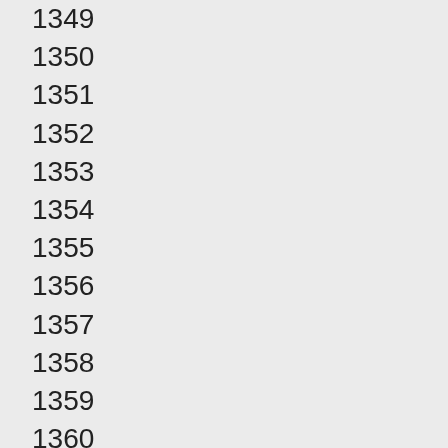1349
1350
1351
1352
1353
1354
1355
1356
1357
1358
1359
1360
1361
1362
1363